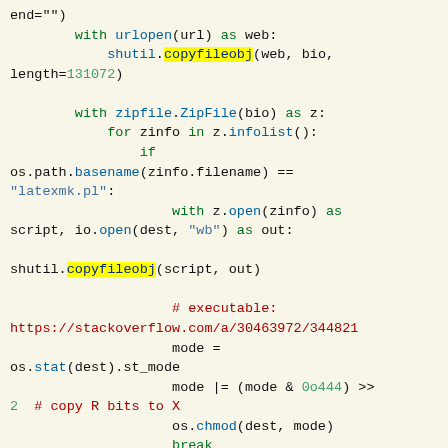[Figure (screenshot): Python source code snippet showing file download, zip extraction, and file permission logic with syntax highlighting. Keywords in green, strings in blue, comments in red, highlighted function calls in yellow.]